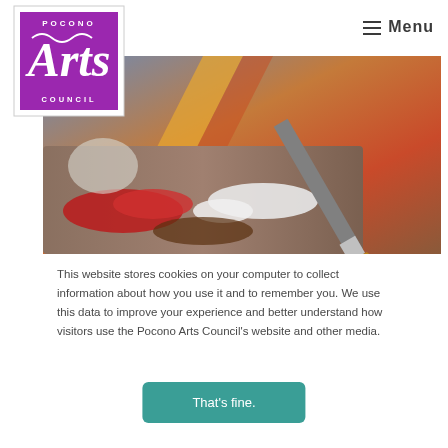[Figure (logo): Pocono Arts Council logo — purple square with stylized 'Arts' lettering, 'Pocono' across top and 'Council' across bottom]
≡ Menu
[Figure (photo): Close-up photo of a paint palette with red, white and brown paint smears and a paintbrush, against a blurred colorful background]
This website stores cookies on your computer to collect information about how you use it and to remember you. We use this data to improve your experience and better understand how visitors use the Pocono Arts Council's website and other media.
[Figure (other): Button labeled 'That's fine.' with teal background]